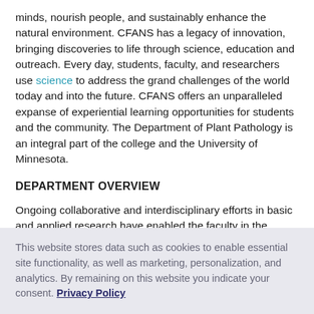minds, nourish people, and sustainably enhance the natural environment. CFANS has a legacy of innovation, bringing discoveries to life through science, education and outreach. Every day, students, faculty, and researchers use science to address the grand challenges of the world today and into the future. CFANS offers an unparalleled expanse of experiential learning opportunities for students and the community. The Department of Plant Pathology is an integral part of the college and the University of Minnesota.
DEPARTMENT OVERVIEW
Ongoing collaborative and interdisciplinary efforts in basic and applied research have enabled the faculty in the
This website stores data such as cookies to enable essential site functionality, as well as marketing, personalization, and analytics. By remaining on this website you indicate your consent. Privacy Policy